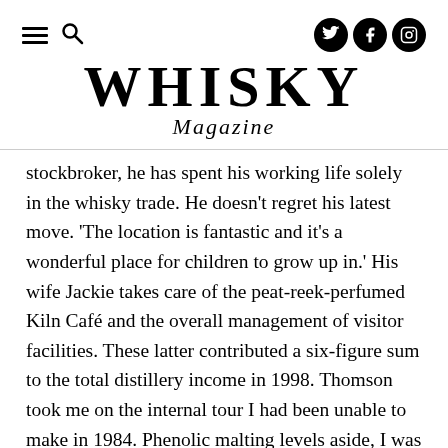Whisky Magazine
WHISKY Magazine
stockbroker, he has spent his working life solely in the whisky trade. He doesn't regret his latest move. 'The location is fantastic and it's a wonderful place for children to grow up in.' His wife Jackie takes care of the peat-reek-perfumed Kiln Café and the overall management of visitor facilities. These latter contributed a six-figure sum to the total distillery income in 1998. Thomson took me on the internal tour I had been unable to make in 1984. Phenolic malting levels aside, I was curious to see if there were any other factors which make